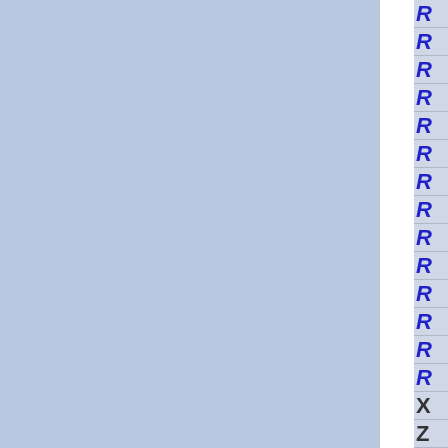[Figure (other): Page showing two large blue-gray panels separated by a white vertical divider, with a right-side column containing a list of rows each showing a partially visible letter R (in blue italic), followed by rows showing X and Z in black.]